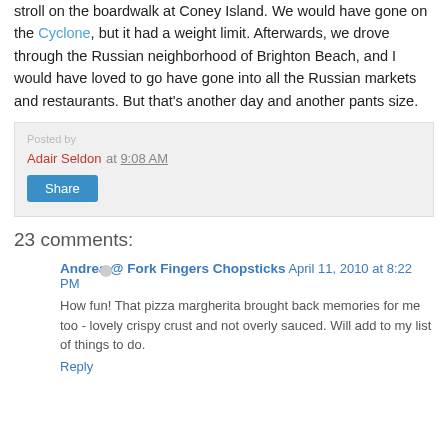stroll on the boardwalk at Coney Island. We would have gone on the Cyclone, but it had a weight limit. Afterwards, we drove through the Russian neighborhood of Brighton Beach, and I would have loved to go have gone into all the Russian markets and restaurants. But that's another day and another pants size.
Adair Seldon at 9:08 AM
Share
23 comments:
Andrea @ Fork Fingers Chopsticks April 11, 2010 at 8:22 PM
How fun! That pizza margherita brought back memories for me too - lovely crispy crust and not overly sauced. Will add to my list of things to do.
Reply